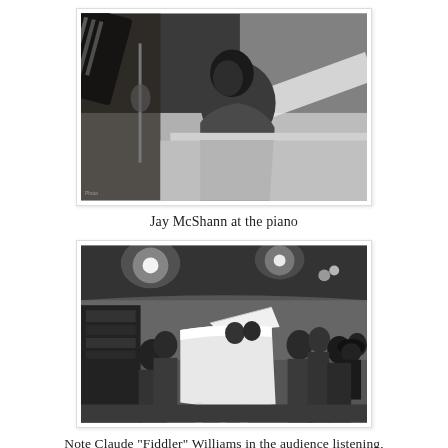[Figure (photo): Black and white photograph of Jay McShann at the piano, with a guitar neck visible in the foreground and studio/room paneling in the background.]
Jay McShann at the piano
[Figure (photo): Black and white photograph of a crowded indoor venue with a white grand piano in the center. People fill the room on both sides. Overhead lights illuminate the scene.]
Note Claude "Fiddler" Williams in the audience listening, wearing a hat, on the extreme right.